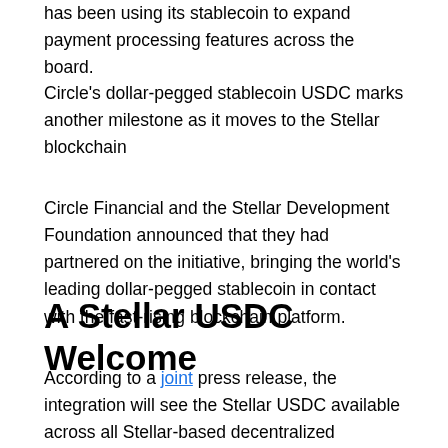has been using its stablecoin to expand payment processing features across the board.
Circle's dollar-pegged stablecoin USDC marks another milestone as it moves to the Stellar blockchain
Circle Financial and the Stellar Development Foundation announced that they had partnered on the initiative, bringing the world's leading dollar-pegged stablecoin in contact with the fast-rising blockchain platform.
A Stellar USDC Welcome
According to a joint press release, the integration will see the Stellar USDC available across all Stellar-based decentralized exchanges. The asset will also become tradable across the entire Stellar ecosystem, with